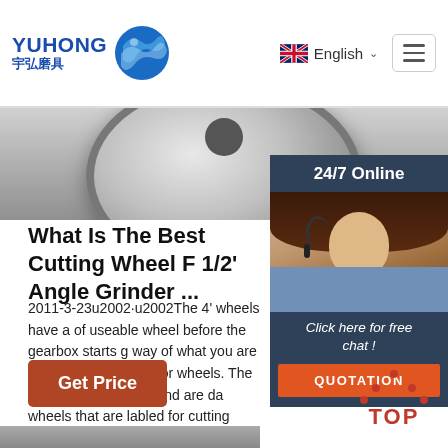YUHONG 宇弘磨具 | English | Navigation menu
[Figure (photo): Gray circular cutting wheel/disc product photo, partially visible at top]
[Figure (photo): 24/7 Online customer support sidebar with female support agent wearing headset, dark navy background, 'Click here for free chat!' text, and orange QUOTATION button]
What Is The Best Cutting Wheel F 1/2' Angle Grinder ...
2011-3-23u2002·u2002The 4' wheels have a of useable wheel before the gearbox starts g way of what you are cutting. Get the 1/16' or wheels. The .040 wheels will flap and are da wheels that are labled for cutting stainless. T longer. The general purpose wheels disappe you start cutting tool steels.
[Figure (other): Brown/orange 'Get Price' button]
[Figure (other): Red TOP scroll-to-top button with dots above it]